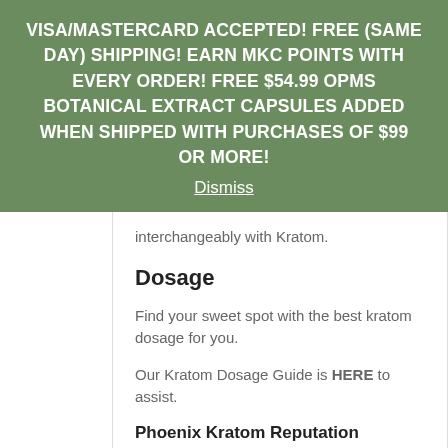VISA/MASTERCARD ACCEPTED! FREE (SAME DAY) SHIPPING! EARN MKC POINTS WITH EVERY ORDER! FREE $54.99 OPMS BOTANICAL EXTRACT CAPSULES ADDED WHEN SHIPPED WITH PURCHASES OF $99 OR MORE!
Dismiss
interchangeably with Kratom.
Dosage
Find your sweet spot with the best kratom dosage for you.
Our Kratom Dosage Guide is HERE to assist.
Phoenix Kratom Reputation
A Sacramento, California company that only produces